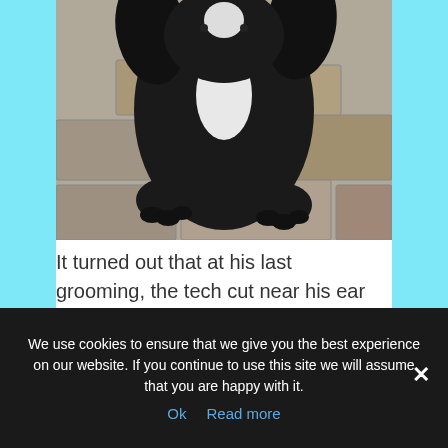[Figure (photo): A black and white dog (likely a Cocker Spaniel) sitting on stone pavers, wearing a red bone-shaped dog tag collar. The photo is cropped to show the dog's body from neck to paws.]
It turned out that at his last grooming, the tech cut near his ear by mistake, a tiny cut that must have hurt him, although his family didn't notice and the store didn't report it.
We use cookies to ensure that we give you the best experience on our website. If you continue to use this site we will assume that you are happy with it.
Ok  Read more